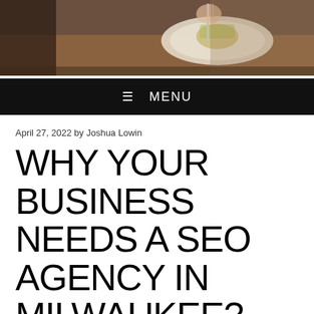[Figure (photo): Hero image showing a hand holding a fork over a plated dish on a wooden table, restaurant setting]
≡ MENU
April 27, 2022 by Joshua Lowin
WHY YOUR BUSINESS NEEDS A SEO AGENCY IN MILWAUKEE?
Search Engine Optimization is a process that involves ranking your website or blog in the results of search engines like Google